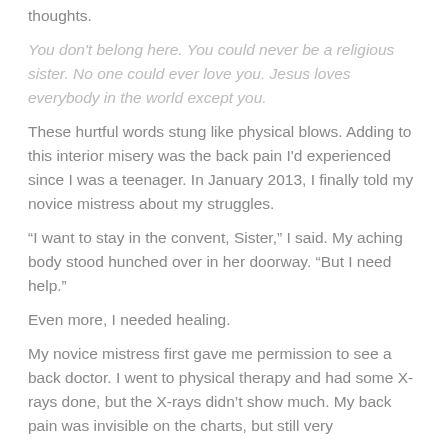thoughts.
You don't belong here. You could never be a religious sister. No one could ever love you. Jesus loves everybody in the world except you.
These hurtful words stung like physical blows. Adding to this interior misery was the back pain I'd experienced since I was a teenager. In January 2013, I finally told my novice mistress about my struggles.
“I want to stay in the convent, Sister,” I said. My aching body stood hunched over in her doorway. “But I need help.”
Even more, I needed healing.
My novice mistress first gave me permission to see a back doctor. I went to physical therapy and had some X-rays done, but the X-rays didn’t show much. My back pain was invisible on the charts, but still very